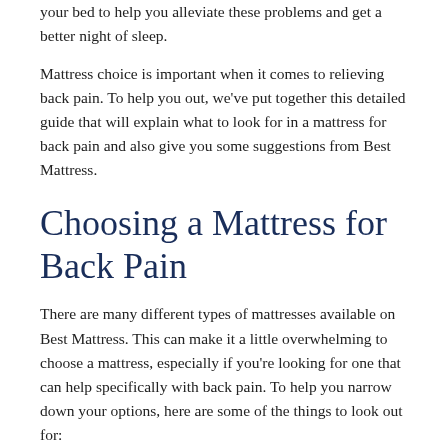your bed to help you alleviate these problems and get a better night of sleep.
Mattress choice is important when it comes to relieving back pain. To help you out, we've put together this detailed guide that will explain what to look for in a mattress for back pain and also give you some suggestions from Best Mattress.
Choosing a Mattress for Back Pain
There are many different types of mattresses available on Best Mattress. This can make it a little overwhelming to choose a mattress, especially if you're looking for one that can help specifically with back pain. To help you narrow down your options, here are some of the things to look out for: